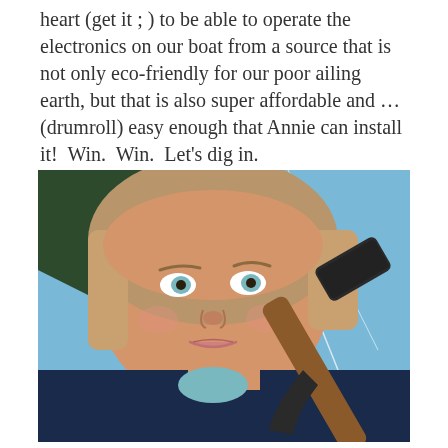heart (get it ; ) to be able to operate the electronics on our boat from a source that is not only eco-friendly for our poor ailing earth, but that is also super affordable and ... (drumroll) easy enough that Annie can install it!  Win.  Win.  Let's dig in.
[Figure (photo): A woman holding a hammer up to her face, posing playfully on a sailboat. Blue sky and sailboat rigging visible in the background. She is wearing a navy blue jacket.]